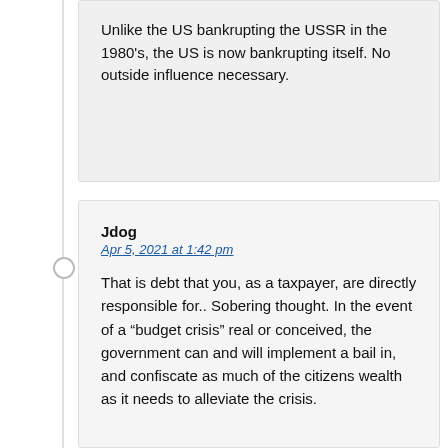Unlike the US bankrupting the USSR in the 1980's, the US is now bankrupting itself. No outside influence necessary.
Jdog
Apr 5, 2021 at 1:42 pm
That is debt that you, as a taxpayer, are directly responsible for.. Sobering thought. In the event of a “budget crisis” real or conceived, the government can and will implement a bail in, and confiscate as much of the citizens wealth as it needs to alleviate the crisis.